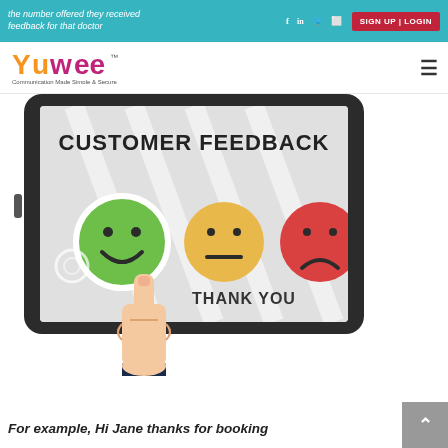the number offered they received feedback for that doctor
SIGN UP | LOGIN
[Figure (logo): Yuwee logo with tagline 'Communication Made Simple & Secure']
[Figure (illustration): Customer feedback illustration showing a tablet with three emoji faces (happy green, neutral yellow, sad red) and a hand pointing to the happy face, with text 'CUSTOMER FEEDBACK' and 'THANK YOU']
For example, Hi Jane thanks for booking